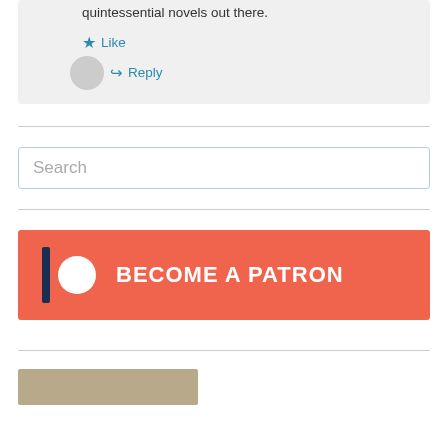quintessential novels out there.
Like
Reply
Search
[Figure (infographic): Patreon banner with logo and text BECOME A PATRON on orange/coral background]
[Figure (photo): Bottom strip showing book spines]